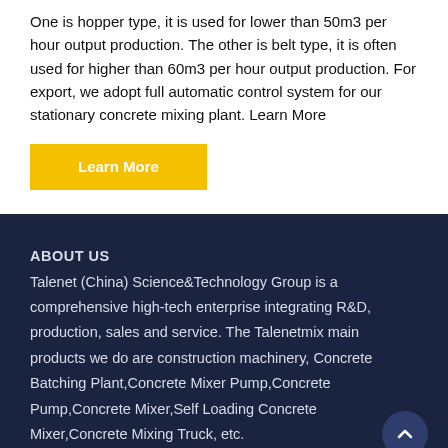One is hopper type, it is used for lower than 50m3 per hour output production. The other is belt type, it is often used for higher than 60m3 per hour output production. For export, we adopt full automatic control system for our stationary concrete mixing plant. Learn More
Learn More
ABOUT US
Talenet (China) Science&Technology Group is a comprehensive high-tech enterprise integrating R&D, production, sales and service. The Talenetmix main products we do are construction machinery, Concrete Batching Plant,Concrete Mixer Pump,Concrete Pump,Concrete Mixer,Self Loading Concrete Mixer,Concrete Mixing Truck, etc.